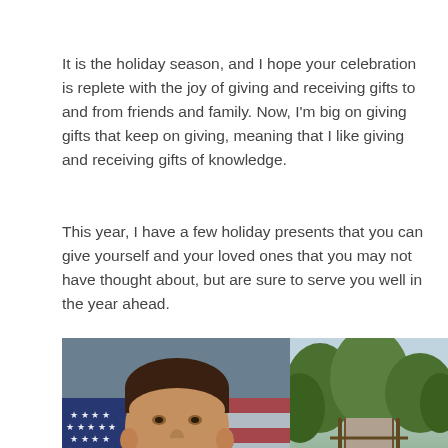It is the holiday season, and I hope your celebration is replete with the joy of giving and receiving gifts to and from friends and family. Now, I'm big on giving gifts that keep on giving, meaning that I like giving and receiving gifts of knowledge.
This year, I have a few holiday presents that you can give yourself and your loved ones that you may not have thought about, but are sure to serve you well in the year ahead.
[Figure (photo): Left half: portrait photo of a smiling man in a suit with a yellow tie in front of an American flag. Right half: street photo showing a tree-lined path with a 'For Sale' sign. Overlaid is a video ad thumbnail showing 'Up Next - Housing Boom Has Left the B...' with a mute button and 'Ad 1 of 1 (0:30)' label and an X close button.]